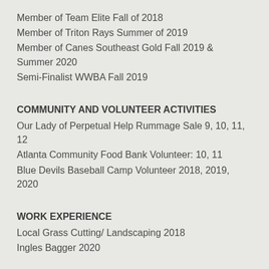Member of Team Elite Fall of 2018
Member of Triton Rays Summer of 2019
Member of Canes Southeast Gold Fall 2019 & Summer 2020
Semi-Finalist WWBA Fall 2019
COMMUNITY AND VOLUNTEER ACTIVITIES
Our Lady of Perpetual Help Rummage Sale 9, 10, 11, 12
Atlanta Community Food Bank Volunteer: 10, 11
Blue Devils Baseball Camp Volunteer 2018, 2019, 2020
WORK EXPERIENCE
Local Grass Cutting/ Landscaping 2018
Ingles Bagger 2020